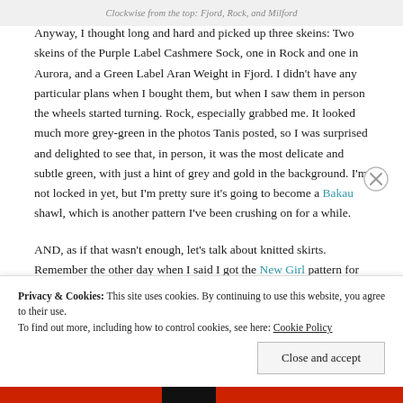Clockwise from the top: Fjord, Rock, and Milford
Anyway, I thought long and hard and picked up three skeins: Two skeins of the Purple Label Cashmere Sock, one in Rock and one in Aurora, and a Green Label Aran Weight in Fjord. I didn't have any particular plans when I bought them, but when I saw them in person the wheels started turning. Rock, especially grabbed me. It looked much more grey-green in the photos Tanis posted, so I was surprised and delighted to see that, in person, it was the most delicate and subtle green, with just a hint of grey and gold in the background. I'm not locked in yet, but I'm pretty sure it's going to become a Bakau shawl, which is another pattern I've been crushing on for a while.
AND, as if that wasn't enough, let's talk about knitted skirts. Remember the other day when I said I got the New Girl pattern for
Privacy & Cookies: This site uses cookies. By continuing to use this website, you agree to their use.
To find out more, including how to control cookies, see here: Cookie Policy
Close and accept